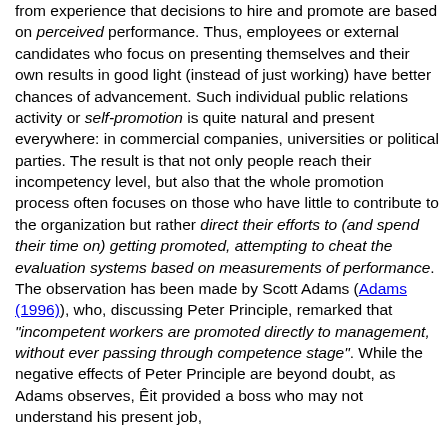from experience that decisions to hire and promote are based on perceived performance. Thus, employees or external candidates who focus on presenting themselves and their own results in good light (instead of just working) have better chances of advancement. Such individual public relations activity or self-promotion is quite natural and present everywhere: in commercial companies, universities or political parties. The result is that not only people reach their incompetency level, but also that the whole promotion process often focuses on those who have little to contribute to the organization but rather direct their efforts to (and spend their time on) getting promoted, attempting to cheat the evaluation systems based on measurements of performance. The observation has been made by Scott Adams (Adams (1996)), who, discussing Peter Principle, remarked that "incompetent workers are promoted directly to management, without ever passing through competence stage". While the negative effects of Peter Principle are beyond doubt, as Adams observes, Êit provided a boss who may not understand his present job,